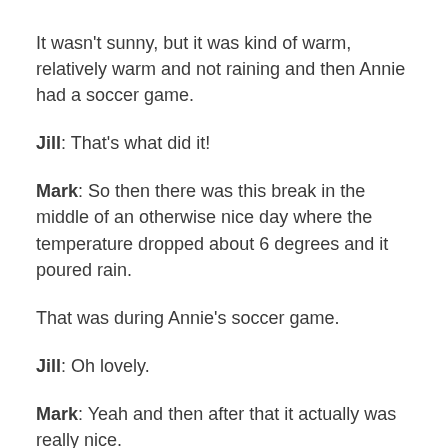It wasn't sunny, but it was kind of warm, relatively warm and not raining and then Annie had a soccer game.
Jill: That's what did it!
Mark: So then there was this break in the middle of an otherwise nice day where the temperature dropped about 6 degrees and it poured rain.
That was during Annie's soccer game.
Jill: Oh lovely.
Mark: Yeah and then after that it actually was really nice.
The sun came out and…